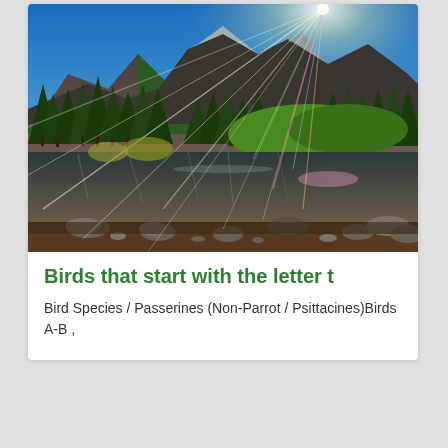[Figure (photo): A scenic mountain lake landscape with pine trees, rocky mountains in the background, sunrays bursting from upper right, and a shallow rocky foreground with reflective water.]
Birds that start with the letter t
Bird Species / Passerines (Non-Parrot / Psittacines)Birds A-B ,